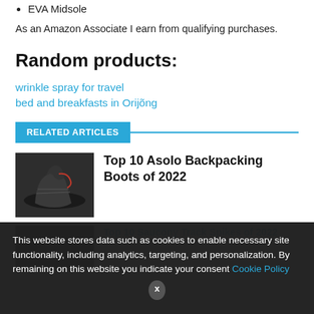EVA Midsole
As an Amazon Associate I earn from qualifying purchases.
Random products:
wrinkle spray for travel
bed and breakfasts in Orijõng
RELATED ARTICLES
[Figure (photo): Thumbnail image of a dark hiking boot (Asolo backpacking boot) on dark background]
Top 10 Asolo Backpacking Boots of 2022
[Figure (photo): Thumbnail image of a dark athletic shoe on dark background]
Top 10 Saucony Track Spikes of 2022
This website stores data such as cookies to enable necessary site functionality, including analytics, targeting, and personalization. By remaining on this website you indicate your consent Cookie Policy